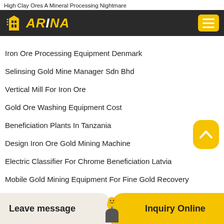High Clay Ores A Mineral Processing Nightmare
[Figure (logo): ARINA company logo with building icon on dark background, and hamburger menu button]
Iron Ore Processing Equipment Denmark
Selinsing Gold Mine Manager Sdn Bhd
Vertical Mill For Iron Ore
Gold Ore Washing Equipment Cost
Beneficiation Plants In Tanzania
Design Iron Ore Gold Mining Machine
Electric Classifier For Chrome Beneficiation Latvia
Mobile Gold Mining Equipment For Fine Gold Recovery
Leave message    Inquiry Online